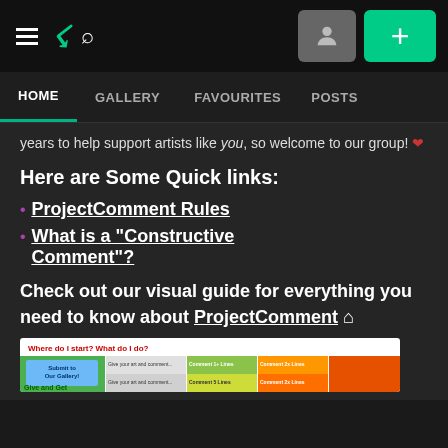[Figure (screenshot): DeviantArt top navigation bar with hamburger menu, DA logo, search icon, user profile button, and green plus button]
HOME | GALLERY | FAVOURITES | POSTS
years to help support artists like you, so welcome to our group! ❤
Here are Some Quick links:
ProjectComment Rules
What is a "Constructive Comment"?
Check out our visual guide for everything you need to know about ProjectComment 🏠
[Figure (infographic): Visual guide infographic showing where to start with ProjectComment, with Submit to Our Gallery button, comment levels table, and Give and Get section on green and orange background]